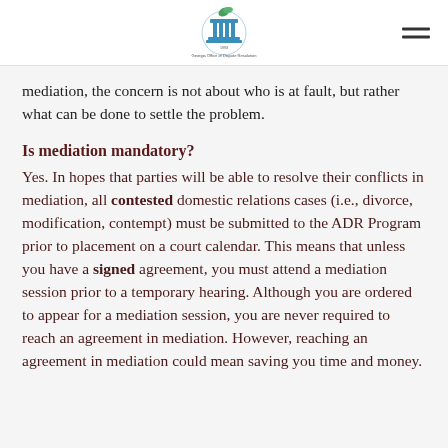[Georgia Office of Dispute Resolution logo]
mediation, the concern is not about who is at fault, but rather what can be done to settle the problem.
Is mediation mandatory?
Yes. In hopes that parties will be able to resolve their conflicts in mediation, all contested domestic relations cases (i.e., divorce, modification, contempt) must be submitted to the ADR Program prior to placement on a court calendar. This means that unless you have a signed agreement, you must attend a mediation session prior to a temporary hearing. Although you are ordered to appear for a mediation session, you are never required to reach an agreement in mediation. However, reaching an agreement in mediation could mean saving you time and money.